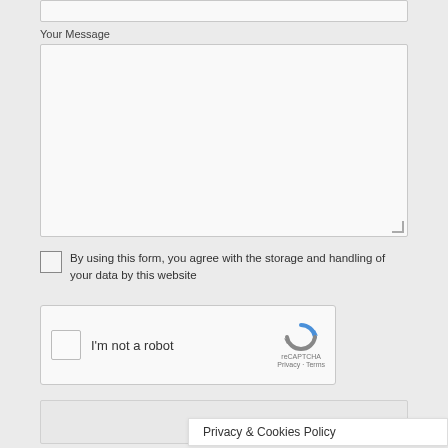Your Message
[Figure (screenshot): A large multi-line text area input box, empty, with a resize handle in the bottom-right corner]
By using this form, you agree with the storage and handling of your data by this website
[Figure (screenshot): reCAPTCHA widget with checkbox labeled 'I'm not a robot', reCAPTCHA logo, Privacy and Terms links]
Send
Privacy & Cookies Policy